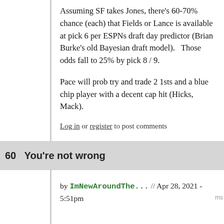Assuming SF takes Jones, there's 60-70% chance (each) that Fields or Lance is available at pick 6 per ESPNs draft day predictor (Brian Burke's old Bayesian draft model).   Those odds fall to 25% by pick 8 / 9.
Pace will prob try and trade 2 1sts and a blue chip player with a decent cap hit (Hicks, Mack).
Log in or register to post comments
60  You're not wrong
by ImNewAroundThe... // Apr 28, 2021 - 5:51pm